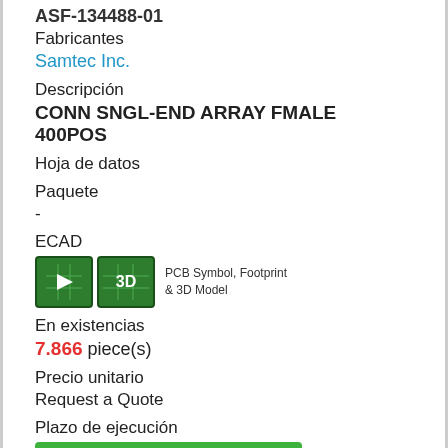ASF-134488-01
Fabricantes
Samtec Inc.
Descripción
CONN SNGL-END ARRAY FMALE 400POS
Hoja de datos
Paquete
-
ECAD
[Figure (other): ECAD icon with PCB Symbol, Footprint & 3D Model buttons]
En existencias
7.866 piece(s)
Precio unitario
Request a Quote
Plazo de ejecución
Se puede enviar inmediatamente
Tiempo estimado de entrega